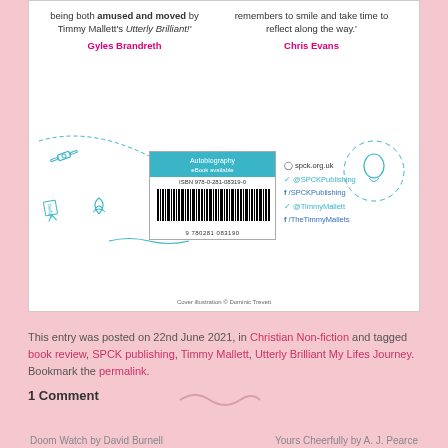[Figure (photo): Back cover of book 'Utterly Brilliant' by Timmy Mallett showing two pull quotes, a barcode/ISBN label, social media handles, and teal doodle illustrations on white background.]
This entry was posted on 22nd June 2021, in Christian Non-fiction and tagged book review, SPCK publishing, Timmy Mallett, Utterly Brilliant My Lifes Journey. Bookmark the permalink.
1 Comment
Doom Watch by David Burnell    Yours Cheerfully by A. J. Pearce